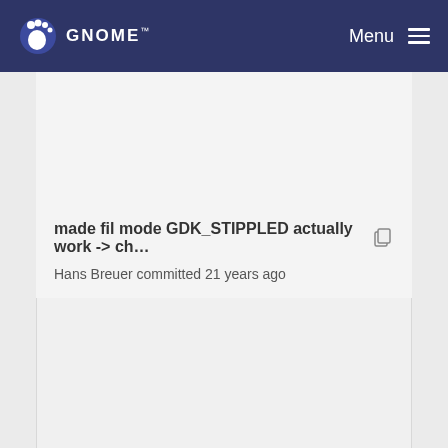GNOME  Menu
made fil mode GDK_STIPPLED actually work -> ch…
Hans Breuer committed 21 years ago